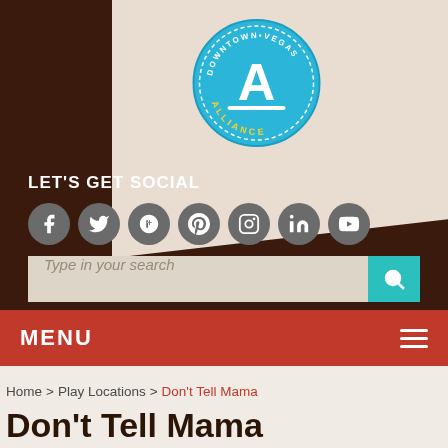[Figure (logo): Downtown Vegas Alliance circular badge logo in blue with white letter A and text 'DOWNTOWN VEGAS ALLIANCE']
LET'S GET SOCIAL
[Figure (infographic): Social media icons: Facebook, Twitter, Google+, Pinterest, Instagram, LinkedIn, YouTube]
[Figure (other): Search bar with placeholder text 'Type in your search' and teal search button]
MENU
Home > Play Locations > Don't Tell Mama
Don't Tell Mama